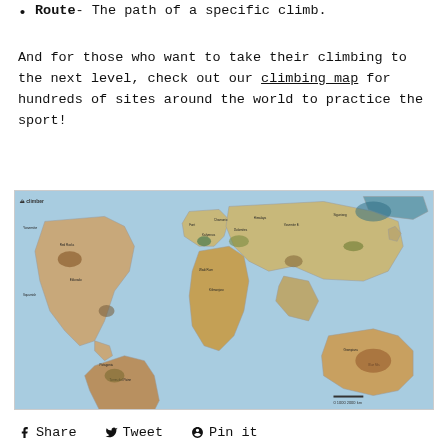Route- The path of a specific climb.
And for those who want to take their climbing to the next level, check out our climbing map for hundreds of sites around the world to practice the sport!
[Figure (map): A illustrated world climbing map showing hundreds of climbing sites around the world, with colorful illustrations of landmarks and natural features on each continent, set against a light blue ocean background.]
Share   Tweet   Pin it